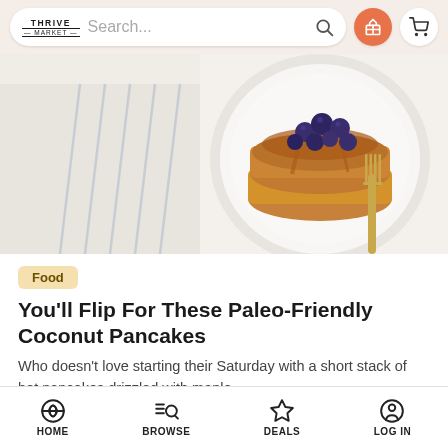Thrive Market — Search bar with gift and cart icons
[Figure (photo): Overhead photo of a stack of golden pancakes topped with blueberries and syrup on a white plate, with a gold fork and striped linen napkin on a white surface]
Food
You'll Flip For These Paleo-Friendly Coconut Pancakes
Who doesn't love starting their Saturday with a short stack of hot pancakes drizzled with maple
HOME   BROWSE   DEALS   LOG IN